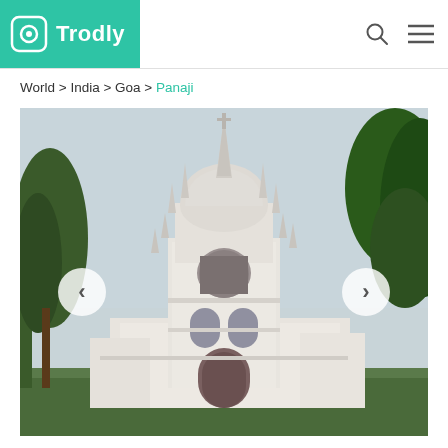Trodly
World > India > Goa > Panaji
[Figure (photo): Photograph of a white Gothic-style church with a tall central spire, ornate detailing, arched windows, and surrounded by palm trees and green foliage. Navigation arrows (< and >) are overlaid on the sides of the image. Location: Panaji, Goa, India.]